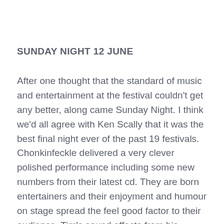SUNDAY NIGHT 12 JUNE
After one thought that the standard of music and entertainment at the festival couldn't get any better, along came Sunday Night. I think we'd all agree with Ken Scally that it was the best final night ever of the past 19 festivals. Chonkinfeckle delivered a very clever polished performance including some new numbers from their latest cd. They are born entertainers and their enjoyment and humour on stage spread the feel good factor to their audience. Tim's sound effects from his percussion box added to Les's ukulele and harmonica playing, and the tune with the cigar box guitar demonstrated what great music they can produce. Jon Brindley was our final act. The fiddle playing gave us Irish and English dance music. The